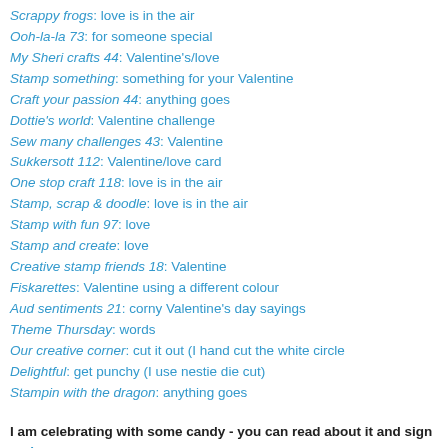Scrappy frogs: love is in the air
Ooh-la-la 73: for someone special
My Sheri crafts 44: Valentine's/love
Stamp something: something for your Valentine
Craft your passion 44: anything goes
Dottie's world: Valentine challenge
Sew many challenges 43: Valentine
Sukkersott 112: Valentine/love card
One stop craft 118: love is in the air
Stamp, scrap & doodle: love is in the air
Stamp with fun 97: love
Stamp and create: love
Creative stamp friends 18: Valentine
Fiskarettes: Valentine using a different colour
Aud sentiments 21: corny Valentine's day sayings
Theme Thursday: words
Our creative corner: cut it out (I hand cut the white circle
Delightful: get punchy (I use nestie die cut)
Stampin with the dragon: anything goes
I am celebrating with some candy - you can read about it and sign up here